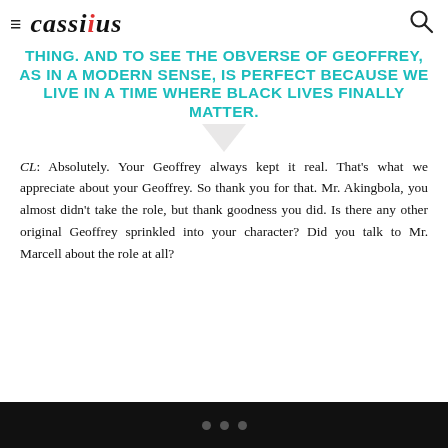cassius
THING. AND TO SEE THE OBVERSE OF GEOFFREY, AS IN A MODERN SENSE, IS PERFECT BECAUSE WE LIVE IN A TIME WHERE BLACK LIVES FINALLY MATTER.
CL: Absolutely. Your Geoffrey always kept it real. That's what we appreciate about your Geoffrey. So thank you for that. Mr. Akingbola, you almost didn't take the role, but thank goodness you did. Is there any other original Geoffrey sprinkled into your character? Did you talk to Mr. Marcell about the role at all?